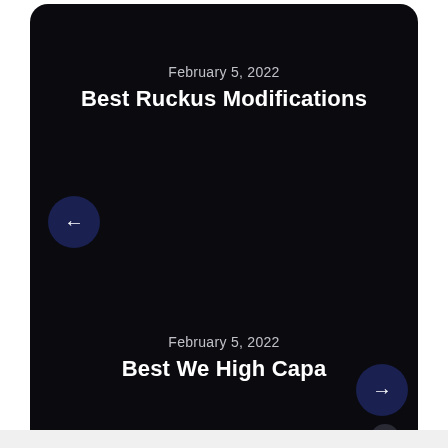February 5, 2022
Best Ruckus Modifications
[Figure (other): Navigation left arrow button (dark blue circle)]
February 5, 2022
Best We High Capa
[Figure (other): Navigation right arrow button (dark blue circle)]
[Figure (other): Scroll up arrow button (small dark circle)]